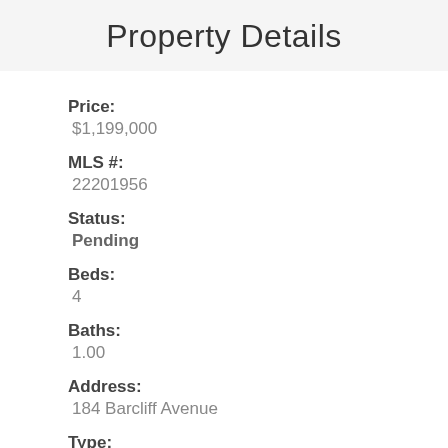Property Details
Price:
$1,199,000
MLS #:
22201956
Status:
Pending
Beds:
4
Baths:
1.00
Address:
184 Barcliff Avenue
Type:
Single Family